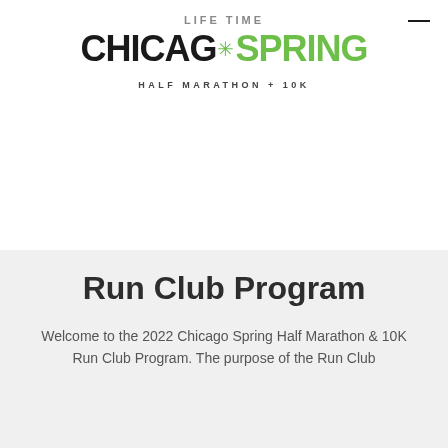LIFE TIME
CHICAGO SPRING
HALF MARATHON + 10K
Run Club Program
Welcome to the 2022 Chicago Spring Half Marathon & 10K Run Club Program. The purpose of the Run Club